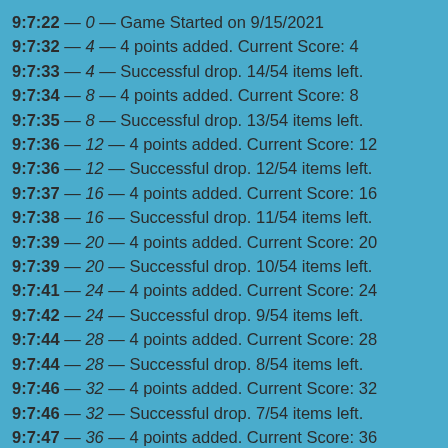9:7:22 — 0 — Game Started on 9/15/2021
9:7:32 — 4 — 4 points added. Current Score: 4
9:7:33 — 4 — Successful drop. 14/54 items left.
9:7:34 — 8 — 4 points added. Current Score: 8
9:7:35 — 8 — Successful drop. 13/54 items left.
9:7:36 — 12 — 4 points added. Current Score: 12
9:7:36 — 12 — Successful drop. 12/54 items left.
9:7:37 — 16 — 4 points added. Current Score: 16
9:7:38 — 16 — Successful drop. 11/54 items left.
9:7:39 — 20 — 4 points added. Current Score: 20
9:7:39 — 20 — Successful drop. 10/54 items left.
9:7:41 — 24 — 4 points added. Current Score: 24
9:7:42 — 24 — Successful drop. 9/54 items left.
9:7:44 — 28 — 4 points added. Current Score: 28
9:7:44 — 28 — Successful drop. 8/54 items left.
9:7:46 — 32 — 4 points added. Current Score: 32
9:7:46 — 32 — Successful drop. 7/54 items left.
9:7:47 — 36 — 4 points added. Current Score: 36